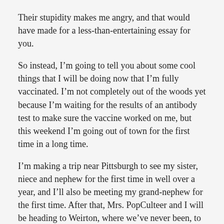Their stupidity makes me angry, and that would have made for a less-than-entertaining essay for you.
So instead, I'm going to tell you about some cool things that I will be doing now that I'm fully vaccinated. I'm not completely out of the woods yet because I'm waiting for the results of an antibody test to make sure the vaccine worked on me, but this weekend I'm going out of town for the first time in a long time.
I'm making a trip near Pittsburgh to see my sister, niece and nephew for the first time in well over a year, and I'll also be meeting my grand-nephew for the first time. After that, Mrs. PopCulteer and I will be heading to Weirton, where we've never been, to take photos of a rare military tank for my friend, Dave Mattson, who will use them on his website devoted to tanks. I'll post a link and tell you more about Dave's website when I know it's